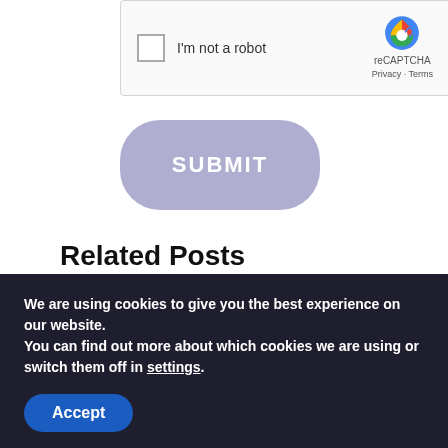[Figure (screenshot): reCAPTCHA widget with checkbox labeled 'I'm not a robot' and reCAPTCHA logo with Privacy and Terms links]
[Figure (screenshot): Submit button with rounded corners, lavender/purple color, white text reading SUBMIT]
Related Posts
[Figure (photo): Photo of a person wearing a sports helmet, appears to be in a gym or sports facility with warm lighting]
[Figure (photo): Dark space scene with a bright blue-green comet or light trail against a dark starry background]
We are using cookies to give you the best experience on our website.
You can find out more about which cookies we are using or switch them off in settings.
Accept